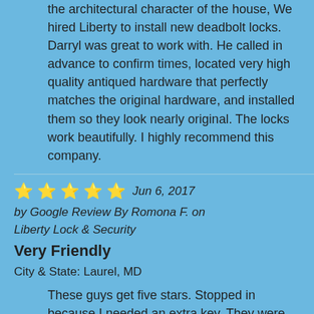the architectural character of the house, We hired Liberty to install new deadbolt locks. Darryl was great to work with. He called in advance to confirm times, located very high quality antiqued hardware that perfectly matches the original hardware, and installed them so they look nearly original. The locks work beautifully. I highly recommend this company.
⭐⭐⭐⭐⭐ Jun 6, 2017
by Google Review By Romona F. on
Liberty Lock & Security
Very Friendly
City & State: Laurel, MD
These guys get five stars. Stopped in because I needed an extra key. They were very friendly. You can tell they love what they do.